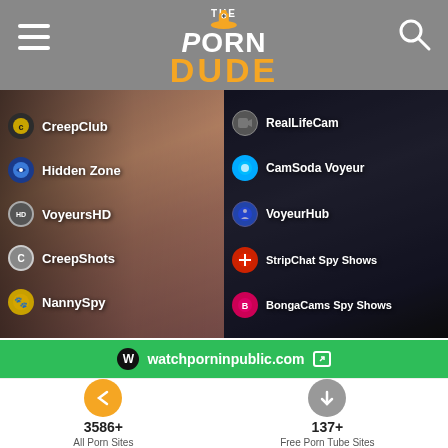[Figure (screenshot): The Porn Dude website header with hamburger menu, logo, and search icon]
[Figure (screenshot): Left panel showing voyeur/spy sites: CreepClub, Hidden Zone, VoyeursHD, CreepShots, NannySpy]
[Figure (screenshot): Right panel showing voyeur/spy sites: RealLifeCam, CamSoda Voyeur, VoyeurHub, StripChat Spy Shows, BongaCams Spy Shows]
POV PORN SITES
PREMIUM POV PORN SITES
[Figure (screenshot): POV Porn Sites panel showing 21+ sites, featuring PornHub POV]
[Figure (screenshot): Premium POV Porn Sites panel showing 13+ sites, featuring POVD]
watchporninpublic.com
3586+ All Porn Sites
137+ Free Porn Tube Sites